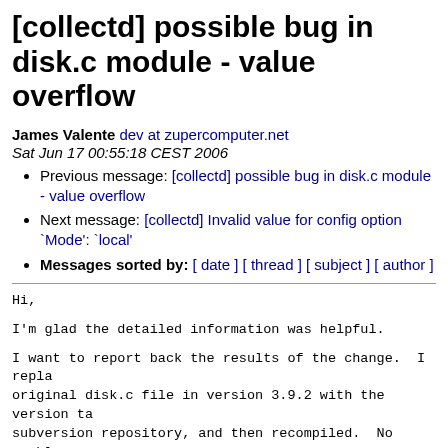[collectd] possible bug in disk.c module - value overflow
James Valente dev at zupercomputer.net
Sat Jun 17 00:55:18 CEST 2006
Previous message: [collectd] possible bug in disk.c module - value overflow
Next message: [collectd] Invalid value for config option `Mode': `local'
Messages sorted by: [ date ] [ thread ] [ subject ] [ author ]
Hi,
I'm glad the detailed information was helpful.
I want to report back the results of the change.  I repla original disk.c file in version 3.9.2 with the version ta subversion repository, and then recompiled.  No problems
I then ran the load test utility, watching the read_secto write_sectors values progress from 0 to 2G, and eventuali it reached 4G sectors, the kernel then rolls the counter. Collectd correctly logged the read and write sectors val